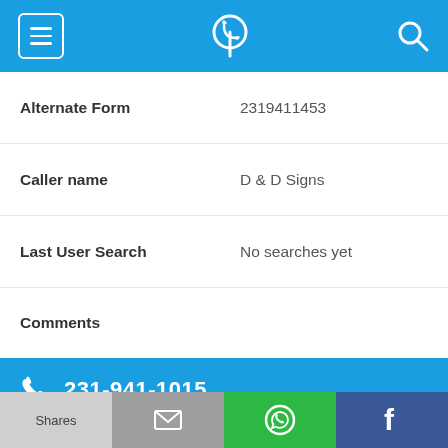[Figure (screenshot): Mobile app top navigation bar with hamburger menu icon, phone/location app logo in center, and search icon on right, all on blue background]
| Alternate Form | 2319411453 |
| Caller name | D & D Signs |
| Last User Search | No searches yet |
| Comments |  |
[Figure (infographic): Blue call action bar showing phone icon and number 231-941-1015]
| Alternate Form | 2319411015 |
[Figure (screenshot): Bottom action bar with Shares (light grey), Email (grey with envelope icon), WhatsApp (green with logo), Facebook (blue with f logo)]